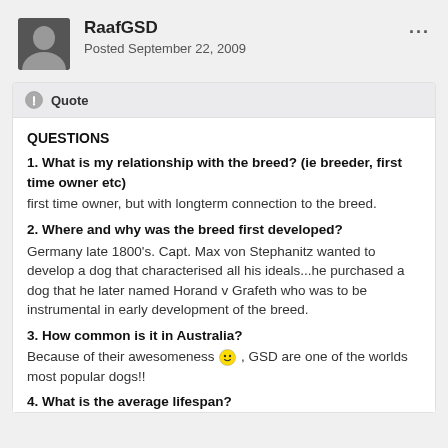RaafGSD
Posted September 22, 2009
Quote
QUESTIONS
1. What is my relationship with the breed? (ie breeder, first time owner etc)
first time owner, but with longterm connection to the breed.
2. Where and why was the breed first developed?
Germany late 1800's. Capt. Max von Stephanitz wanted to develop a dog that characterised all his ideals...he purchased a dog that he later named Horand v Grafeth who was to be instrumental in early development of the breed.
3. How common is it in Australia?
Because of their awesomeness 😊, GSD are one of the worlds most popular dogs!!
4. What is the average lifespan?